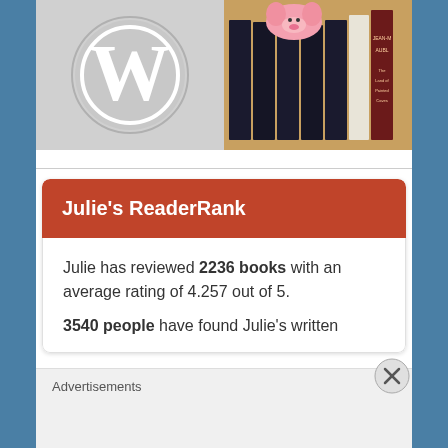[Figure (logo): WordPress logo — white W in a circle on a light gray background]
[Figure (photo): Photo of a row of dark-spined books standing upright with a pink pig plush toy on top; visible titles include GARCIER and JEAN-M AUBL (The Land of Painted Caves)]
Julie's ReaderRank
Julie has reviewed 2236 books with an average rating of 4.257 out of 5.
3540 people have found Julie's written
Advertisements